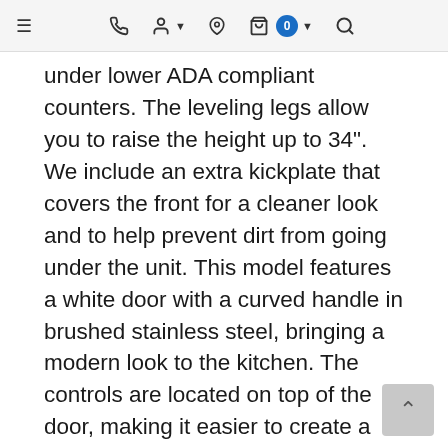≡  [phone] [person ▾] [location] [cart 0 ▾] [search]
under lower ADA compliant counters. The leveling legs allow you to raise the height up to 34". We include an extra kickplate that covers the front for a cleaner look and to help prevent dirt from going under the unit. This model features a white door with a curved handle in brushed stainless steel, bringing a modern look to the kitchen. The controls are located on top of the door, making it easier to create a more seamless look under your counters. Advanced sound absorption ensures a quiet performance at just 47 dB. This unit offers eight wash programs to accommodate all of your cleaning needs, from an "intensive plus" setting for tough stains to a delicate function to safely handle fragile items. Five auxiliary functions let you further customize the wash and dry settings, with options that include